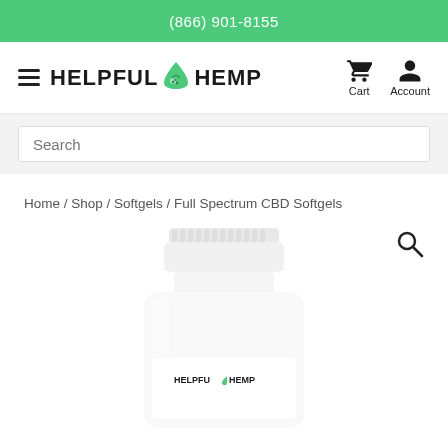(866) 901-8155
[Figure (logo): Helpful Hemp logo with hamburger menu, green drop icon, cart and account icons]
Search
Home / Shop / Softgels / Full Spectrum CBD Softgels
[Figure (photo): Product bottle of Helpful Hemp Full Spectrum CBD Softgels, white bottle with white cap, partially cropped showing top portion]